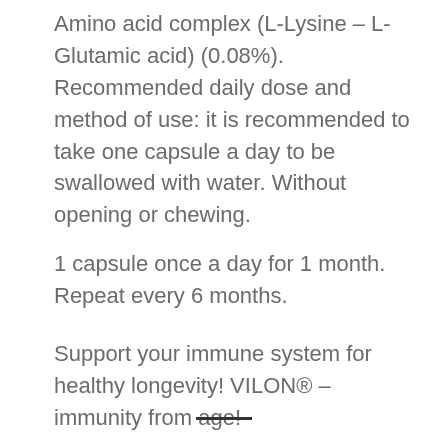Amino acid complex (L-Lysine – L-Glutamic acid) (0.08%). Recommended daily dose and method of use: it is recommended to take one capsule a day to be swallowed with water. Without opening or chewing.
1 capsule once a day for 1 month. Repeat every 6 months.
Support your immune system for healthy longevity! VILON® – immunity from age!